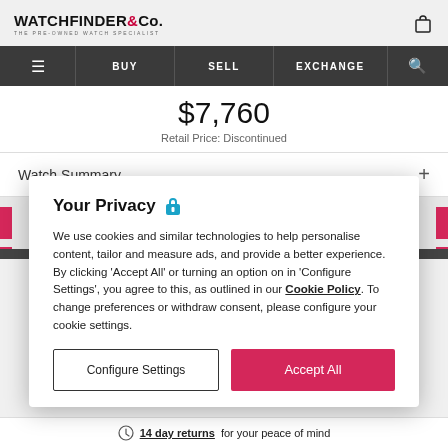WATCHFINDER & Co. THE PRE-OWNED WATCH SPECIALIST
BUY  SELL  EXCHANGE
$7,760
Retail Price: Discontinued
Watch Summary +
Your Privacy
We use cookies and similar technologies to help personalise content, tailor and measure ads, and provide a better experience. By clicking 'Accept All' or turning an option on in 'Configure Settings', you agree to this, as outlined in our Cookie Policy. To change preferences or withdraw consent, please configure your cookie settings.
Configure Settings
Accept All
14 day returns for your peace of mind